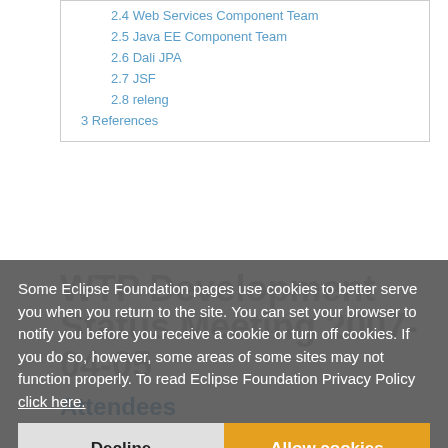2.4 Web Services Component Team
2.5 Java EE Component Team
2.6 Dali JPA
2.7 JSF
2.8 releng
3 References
WTP Development Status Meeting 2007-04-05
Attendees
Announcements
Some Eclipse Foundation pages use cookies to better serve you when you return to the site. You can set your browser to notify you before you receive a cookie or turn off cookies. If you do so, however, some areas of some sites may not function properly. To read Eclipse Foundation Privacy Policy click here.
Friday is a holiday in Canada.
Interesting discussion about possible removal of remind and later resolved states- 116523 @
Take a look at the new New WTP 2.0 Plan document published by Raghu and make any updates or changes.